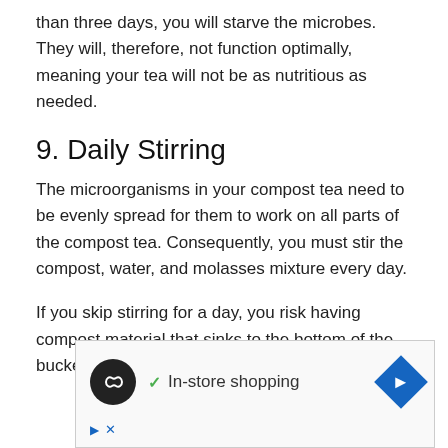than three days, you will starve the microbes. They will, therefore, not function optimally, meaning your tea will not be as nutritious as needed.
9. Daily Stirring
The microorganisms in your compost tea need to be evenly spread for them to work on all parts of the compost tea. Consequently, you must stir the compost, water, and molasses mixture every day.
If you skip stirring for a day, you risk having compost material that sinks to the bottom of the bucket.
[Figure (screenshot): Advertisement banner showing a circular dark logo with infinity-like symbol, a green checkmark with 'In-store shopping' text, and a blue diamond-shaped navigation arrow icon, with play and close controls at bottom left.]